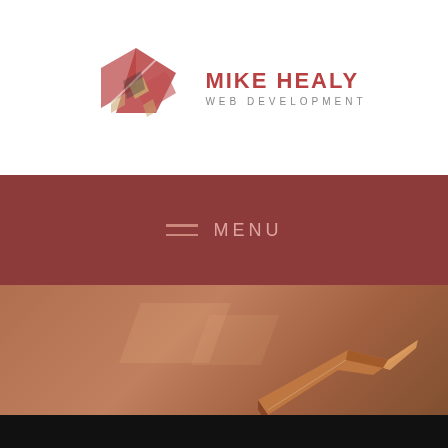[Figure (logo): Mike Healy Web Development logo with geometric red and tan angular shapes on white background]
[Figure (screenshot): Navigation bar with hamburger menu icon and MENU text on dark red/maroon background]
[Figure (illustration): Hero image with warm brown/orange gradient background featuring geometric diamond shapes and angular 3D pen-like object in lower right]
Tag: ux
[Figure (other): Dark gray footer bar with a small chevron/arrow graphic on the right side]